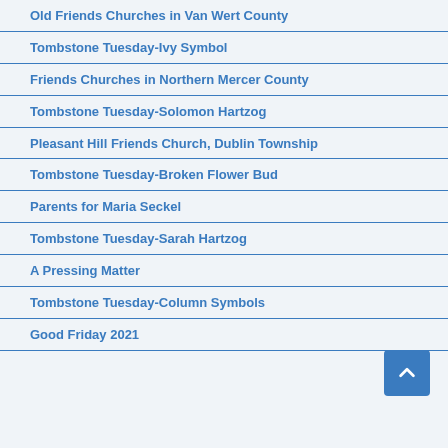Old Friends Churches in Van Wert County
Tombstone Tuesday-Ivy Symbol
Friends Churches in Northern Mercer County
Tombstone Tuesday-Solomon Hartzog
Pleasant Hill Friends Church, Dublin Township
Tombstone Tuesday-Broken Flower Bud
Parents for Maria Seckel
Tombstone Tuesday-Sarah Hartzog
A Pressing Matter
Tombstone Tuesday-Column Symbols
Good Friday 2021